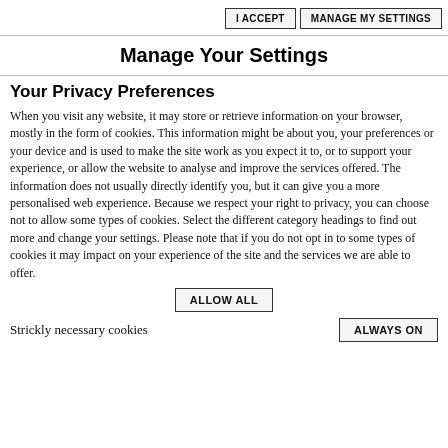I ACCEPT | MANAGE MY SETTINGS
Manage Your Settings
Your Privacy Preferences
When you visit any website, it may store or retrieve information on your browser, mostly in the form of cookies. This information might be about you, your preferences or your device and is used to make the site work as you expect it to, or to support your experience, or allow the website to analyse and improve the services offered. The information does not usually directly identify you, but it can give you a more personalised web experience. Because we respect your right to privacy, you can choose not to allow some types of cookies. Select the different category headings to find out more and change your settings. Please note that if you do not opt in to some types of cookies it may impact on your experience of the site and the services we are able to offer.
ALLOW ALL
Strickly necessary cookies   ALWAYS ON